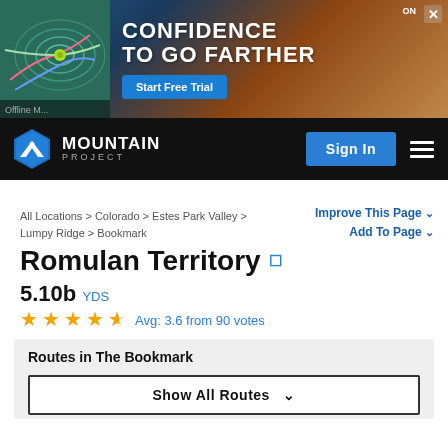[Figure (infographic): Advertisement banner for OnX app showing topo maps on phone, mountain hiker background, text 'CONFIDENCE TO GO FARTHER' with 'Start Free Trial' button]
MOUNTAIN PROJECT | Sign In
All Locations > Colorado > Estes Park Valley > Lumpy Ridge > Bookmark
Improve This Page ∨
Add To Page ∨
Romulan Territory
5.10b YDS
Avg: 3.6 from 90 votes
Routes in The Bookmark
Show All Routes ∨